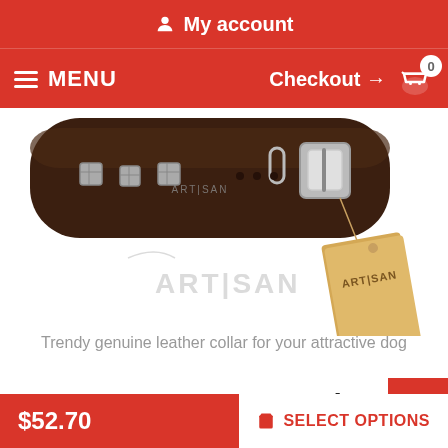My account
MENU
Checkout → 0
[Figure (photo): Dark brown genuine leather dog collar with square metal studs and a silver buckle, with an Artisan branded hang tag, and the Artisan logo visible on the collar.]
Trendy genuine leather collar for your attractive dog
How to measure your dog fo
$52.70
SELECT OPTIONS